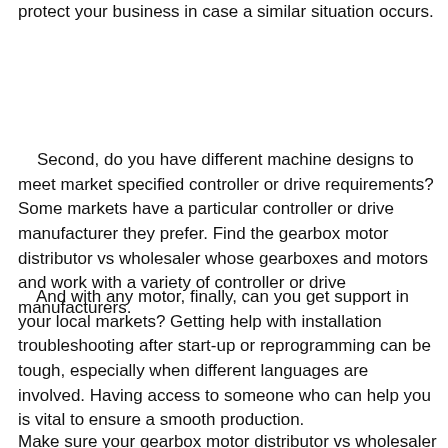protect your business in case a similar situation occurs.
Second, do you have different machine designs to meet market specified controller or drive requirements? Some markets have a particular controller or drive manufacturer they prefer. Find the gearbox motor distributor vs wholesaler whose gearboxes and motors and work with a variety of controller or drive manufacturers.
And with any motor, finally, can you get support in your local markets? Getting help with installation troubleshooting after start-up or reprogramming can be tough, especially when different languages are involved. Having access to someone who can help you is vital to ensure a smooth production.
Make sure your gearbox motor distributor vs wholesaler can